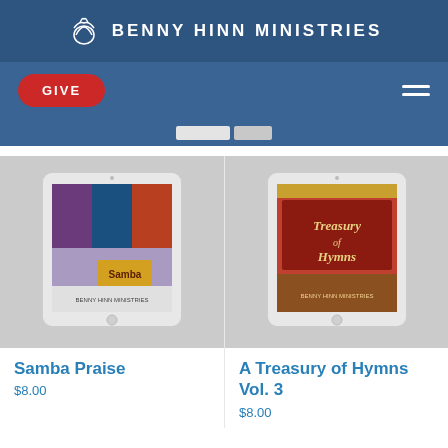BENNY HINN MINISTRIES
GIVE
[Figure (screenshot): Two product cards showing tablet devices with music album covers. Left: Samba Praise tablet. Right: A Treasury of Hymns Vol. 3 tablet.]
Samba Praise
$8.00
A Treasury of Hymns Vol. 3
$8.00